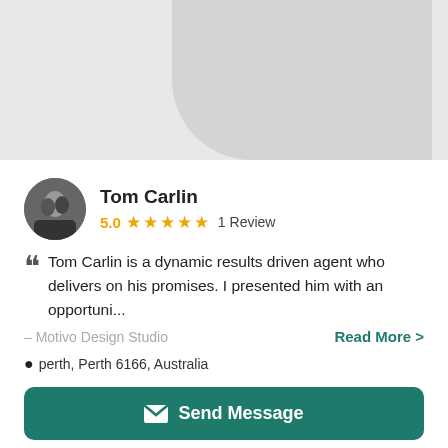[Figure (other): Top decorative banner with grey rounded shape]
Tom Carlin
5.0 ★★★★★ 1 Review
Tom Carlin is a dynamic results driven agent who delivers on his promises. I presented him with an opportuni...
– Motivo Design Studio
Read More >
perth, Perth 6166, Australia
Send Message
[Figure (other): Bottom decorative banner with grey rounded shape]